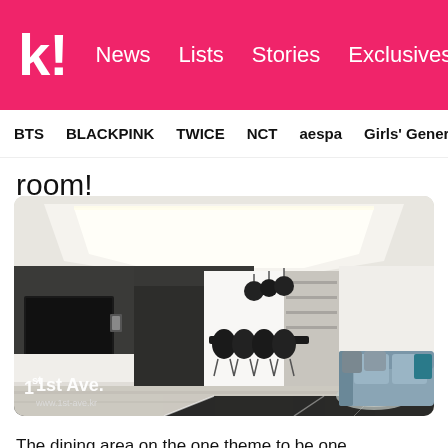K! News | Lists | Stories | Exclusives
BTS | BLACKPINK | TWICE | NCT | aespa | Girls' Generation
room!
[Figure (photo): Modern apartment living room interior with grey sofa with teal pillow, black dining chairs, wall-mounted TV, white walls and ceiling with recessed lighting, grey carpet, coffee table, and open concept kitchen area. Watermark reads '1st Ave. www.1st-ave.kr']
The dining area on the one theme to be one